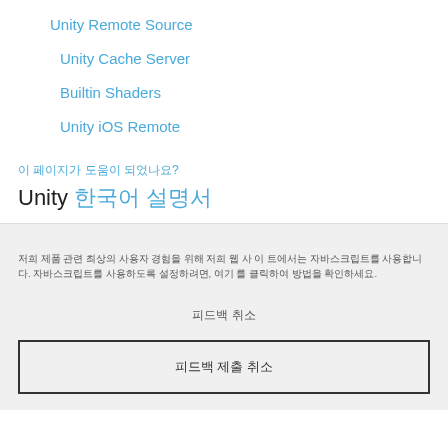Unity Remote Source
Unity Cache Server
Builtin Shaders
Unity iOS Remote
이 페이지가 도움이 되었나요?
Unity 한국어 설명서
저희 제품 관련 최상의 사용자 경험을 위해 저희 웹 사 이 트에서는 자바스크립트를 사용합니다. 자바스크립트를 사용하도록 설정하려면, 여기 를 클릭하여 방법을 확인하세요.
피드백 취소
피드백 제출 취소